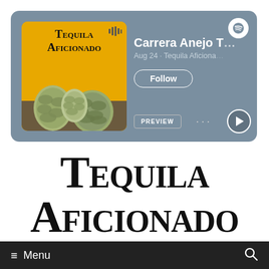[Figure (screenshot): Spotify podcast player card for Tequila Aficionado podcast. Shows podcast artwork (yellow background with agave piñas and 'Tequila Aficionado' text), Spotify logo, episode title 'Carrera Anejo T...', date 'Aug 24 · Tequila Aficiona', Follow button, PREVIEW button, ellipsis menu, and play button.]
Tequila Aficionado
≡  Menu